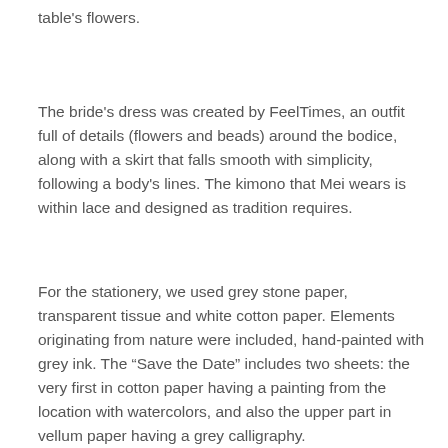table's flowers.
The bride's dress was created by FeelTimes, an outfit full of details (flowers and beads) around the bodice, along with a skirt that falls smooth with simplicity, following a body's lines. The kimono that Mei wears is within lace and designed as tradition requires.
For the stationery, we used grey stone paper, transparent tissue and white cotton paper. Elements originating from nature were included, hand-painted with grey ink. The “Save the Date” includes two sheets: the very first in cotton paper having a painting from the location with watercolors, and also the upper part in vellum paper having a grey calligraphy.